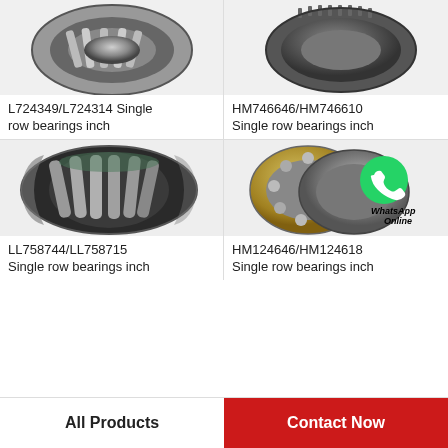[Figure (photo): L724349/L724314 single row tapered roller bearing photo, top-left cell]
L724349/L724314 Single row bearings inch
[Figure (photo): HM746646/HM746610 single row tapered roller bearing photo, top-right cell]
HM746646/HM746610 Single row bearings inch
[Figure (photo): LL758744/LL758715 spherical roller bearing photo, bottom-left cell]
LL758744/LL758715 Single row bearings inch
[Figure (photo): HM124646/HM124618 angular contact ball bearings photo with WhatsApp Online overlay, bottom-right cell]
HM124646/HM124618 Single row bearings inch
All Products
Contact Now